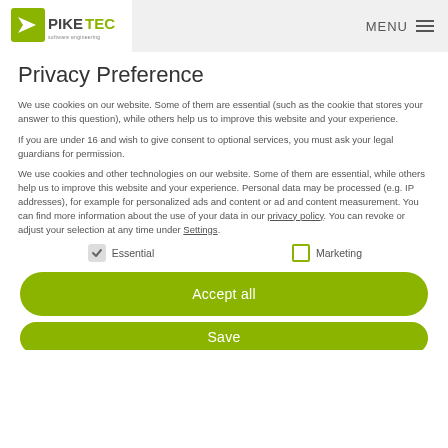PIKETEC | MENU
Privacy Preference
We use cookies on our website. Some of them are essential (such as the cookie that stores your answer to this question), while others help us to improve this website and your experience.
If you are under 16 and wish to give consent to optional services, you must ask your legal guardians for permission.
We use cookies and other technologies on our website. Some of them are essential, while others help us to improve this website and your experience. Personal data may be processed (e.g. IP addresses), for example for personalized ads and content or ad and content measurement. You can find more information about the use of your data in our privacy policy. You can revoke or adjust your selection at any time under Settings.
Essential | Marketing
Accept all
Save